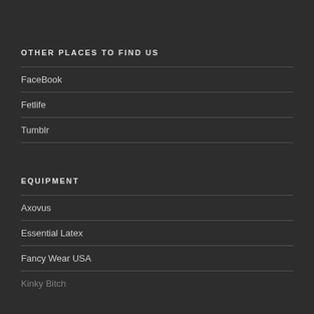OTHER PLACES TO FIND US
FaceBook
Fetlife
Tumblr
EQUIPMENT
Axovus
Essential Latex
Fancy Wear USA
Kinky Bitch